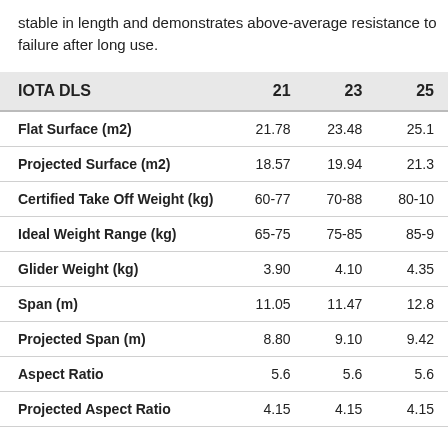stable in length and demonstrates above-average resistance to failure after long use.
| IOTA DLS | 21 | 23 | 25 |
| --- | --- | --- | --- |
| Flat Surface (m2) | 21.78 | 23.48 | 25.1 |
| Projected Surface (m2) | 18.57 | 19.94 | 21.3 |
| Certified Take Off Weight (kg) | 60-77 | 70-88 | 80-10 |
| Ideal Weight Range (kg) | 65-75 | 75-85 | 85-9 |
| Glider Weight (kg) | 3.90 | 4.10 | 4.35 |
| Span (m) | 11.05 | 11.47 | 12.8 |
| Projected Span (m) | 8.80 | 9.10 | 9.42 |
| Aspect Ratio | 5.6 | 5.6 | 5.6 |
| Projected Aspect Ratio | 4.15 | 4.15 | 4.15 |